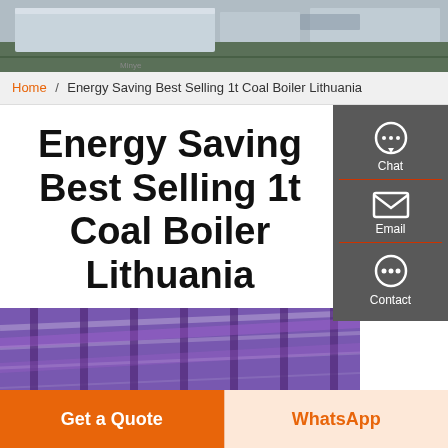[Figure (photo): Aerial/exterior photo of an industrial building with green lawn and parking area]
Home / Energy Saving Best Selling 1t Coal Boiler Lithuania
Energy Saving Best Selling 1t Coal Boiler Lithuania
[Figure (photo): Interior industrial/factory image with purple and violet steel roof structure]
Get a Quote
WhatsApp